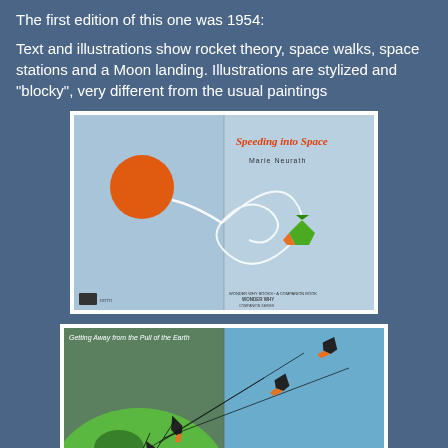The first edition of this one was 1954:
Text and illustrations show rocket theory, space walks, space stations and a Moon landing. Illustrations are stylized and "blocky", very different from the usual paintings
[Figure (photo): Book cover of 'Speeding into Space' by Marie Neurath, showing a stylized rocket with spiral trail and orange sphere on light blue background]
[Figure (photo): Interior spread of the book showing 'Getting Away from the Pull of the Earth' with stylized rockets launching from Earth against blue background]